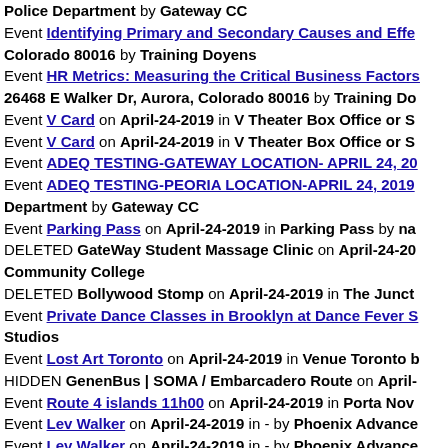Police Department by Gateway CC
Event Identifying Primary and Secondary Causes and Effe... Colorado 80016 by Training Doyens
Event HR Metrics: Measuring the Critical Business Factors... 26468 E Walker Dr, Aurora, Colorado 80016 by Training Do...
Event V Card on April-24-2019 in V Theater Box Office or S...
Event V Card on April-24-2019 in V Theater Box Office or S...
Event ADEQ TESTING-GATEWAY LOCATION- APRIL 24, 20...
Event ADEQ TESTING-PEORIA LOCATION-APRIL 24, 2019... Department by Gateway CC
Event Parking Pass on April-24-2019 in Parking Pass by na...
DELETED GateWay Student Massage Clinic on April-24-20... Community College
DELETED Bollywood Stomp on April-24-2019 in The Junct...
Event Private Dance Classes in Brooklyn at Dance Fever S... Studios
Event Lost Art Toronto on April-24-2019 in Venue Toronto b...
HIDDEN GenenBus | SOMA / Embarcadero Route on April-...
Event Route 4 islands 11h00 on April-24-2019 in Porta Nov...
Event Lev Walker on April-24-2019 in - by Phoenix Advance...
Event Lev Walker on April-24-2019 in - by Phoenix Advance...
DELETED VCARD - The Vegas Nightlife Pass on April-24-2...
Event AKADEMI GENERASI HARAPAN on April-24-2019 in...
DELETED Robben Island Ticketing on April-24-2019 in Rob...
DELETED Marc Savard Comedy Hypnosis on April-23-201...